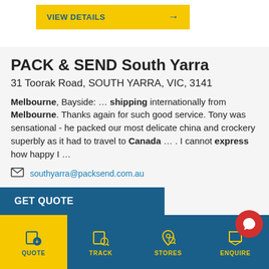[Figure (other): Yellow button with text VIEW DETAILS and right arrow]
PACK & SEND South Yarra
31 Toorak Road, SOUTH YARRA, VIC, 3141
Melbourne, Bayside: … shipping internationally from Melbourne. Thanks again for such good service. Tony was sensational - he packed our most delicate china and crockery superbly as it had to travel to Canada … . I cannot express how happy I …
southyarra@packsend.com.au
26 reviews
03 9521 5822
[Figure (other): GET QUOTE button bar in dark blue]
[Figure (other): Bottom navigation bar with QUOTE, TRACK, STORES, ENQUIRE icons]